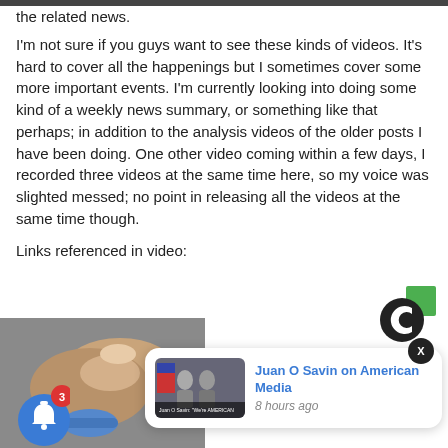the related news.
I'm not sure if you guys want to see these kinds of videos. It's hard to cover all the happenings but I sometimes cover some more important events. I'm currently looking into doing some kind of a weekly news summary, or something like that perhaps; in addition to the analysis videos of the older posts I have been doing. One other video coming within a few days, I recorded three videos at the same time here, so my voice was slighted messed; no point in releasing all the videos at the same time though.
Links referenced in video:
[Figure (screenshot): Ad logo — Comscore-style circular C icon with green square]
[Figure (photo): Thumbnail photo showing fingers holding a small object, partially visible]
[Figure (screenshot): Notification card showing 'Juan O Savin on American Media' video thumbnail with two people and a flag, posted 8 hours ago]
[Figure (infographic): Blue circular bell notification button with red badge showing count 3, and X close button on notification card]